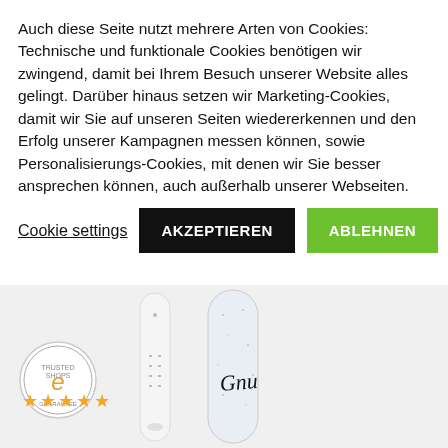Auch diese Seite nutzt mehrere Arten von Cookies: Technische und funktionale Cookies benötigen wir zwingend, damit bei Ihrem Besuch unserer Website alles gelingt. Darüber hinaus setzen wir Marketing-Cookies, damit wir Sie auf unseren Seiten wiedererkennen und den Erfolg unserer Kampagnen messen können, sowie Personalisierungs-Cookies, mit denen wir Sie besser ansprechen können, auch außerhalb unserer Webseiten.
Cookie settings
AKZEPTIEREN
ABLEHNEN
[Figure (photo): Background showing snowboard product images and a Trusted Shops badge with star rating 5,00]